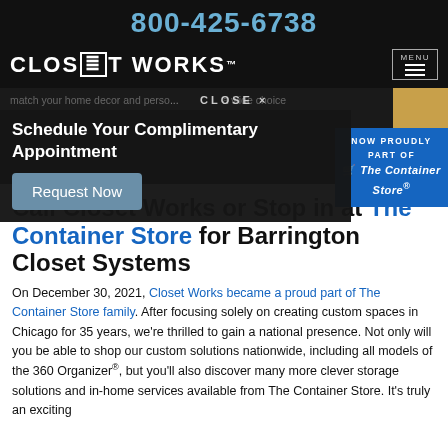800-425-6738
[Figure (logo): Closet Works logo in white on black background, with hamburger MENU button]
match your home decor and personality... a wide choice
Schedule Your Complimentary Appointment
CLOSE ×
NOW PROUDLY PART OF   The Container Store®
Request Now
Call Closet Works or Stop in at The Container Store for Barrington Closet Systems
On December 30, 2021, Closet Works became a proud part of The Container Store family. After focusing solely on creating custom spaces in Chicago for 35 years, we're thrilled to gain a national presence. Not only will you be able to shop our custom solutions nationwide, including all models of the 360 Organizer®, but you'll also discover many more clever storage solutions and in-home services available from The Container Store. It's truly an exciting